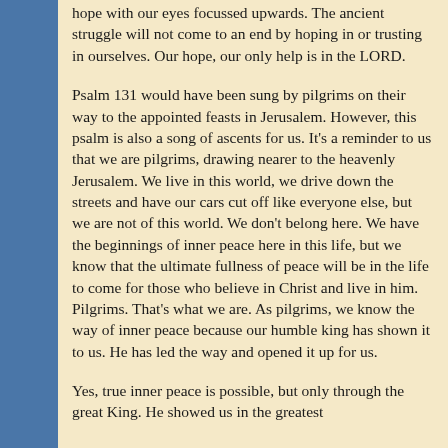hope with our eyes focussed upwards. The ancient struggle will not come to an end by hoping in or trusting in ourselves. Our hope, our only help is in the LORD.
Psalm 131 would have been sung by pilgrims on their way to the appointed feasts in Jerusalem. However, this psalm is also a song of ascents for us. It's a reminder to us that we are pilgrims, drawing nearer to the heavenly Jerusalem. We live in this world, we drive down the streets and have our cars cut off like everyone else, but we are not of this world. We don't belong here. We have the beginnings of inner peace here in this life, but we know that the ultimate fullness of peace will be in the life to come for those who believe in Christ and live in him. Pilgrims. That's what we are. As pilgrims, we know the way of inner peace because our humble king has shown it to us. He has led the way and opened it up for us.
Yes, true inner peace is possible, but only through the great King. He showed us in the greatest